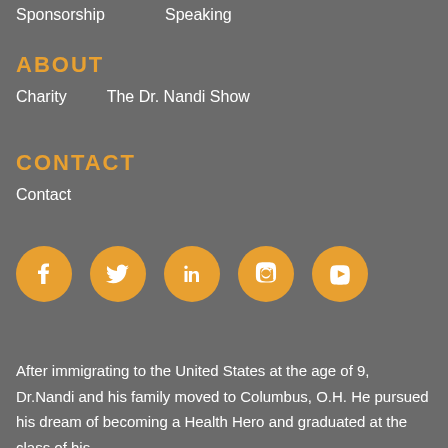Sponsorship    Speaking
ABOUT
Charity    The Dr. Nandi Show
CONTACT
Contact
[Figure (illustration): Five orange circular social media icons: Facebook, Twitter, LinkedIn, Instagram, YouTube]
After immigrating to the United States at the age of 9, Dr.Nandi and his family moved to Columbus, O.H. He pursued his dream of becoming a Health Hero and graduated at the class of his